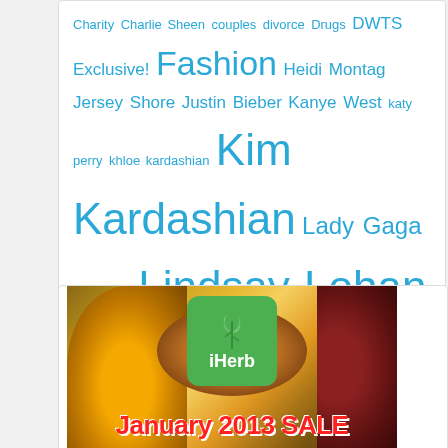Charity Charlie Sheen couples divorce Drugs DWTS Exclusive! Fashion Heidi Montag Jersey Shore Justin Bieber Kanye West katy perry khloe kardashian Kim Kardashian Lady Gaga Legal Lindsay Lohan Michael Jackson Miley Cyrus money Movies MTV Music news Paris Hilton Photos Rihanna Roxy Sports Taylor Swift Top TV TV Time Twilight Twitter Video Weddings
[Figure (photo): iHerb January 2013 Sale advertisement banner showing spices (turmeric, ground spices) in bowls with the iHerb green logo and 'January 2013 SALE' text]